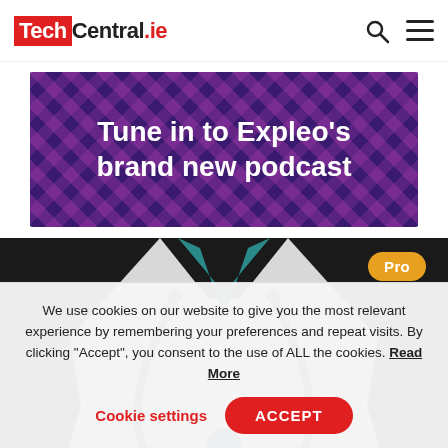TechCentral.ie
[Figure (illustration): Advertisement banner with dark purple diamond-pattern background. White bold text reads: Tune in to Expleo's brand new podcast]
[Figure (photo): Close-up photo of a person in a white doctor's lab coat with a stethoscope around their neck and teal scrubs visible underneath. A gold 'Pro' badge is overlaid in the top right corner.]
We use cookies on our website to give you the most relevant experience by remembering your preferences and repeat visits. By clicking “Accept”, you consent to the use of ALL the cookies. Read More
Cookie settings   ACCEPT